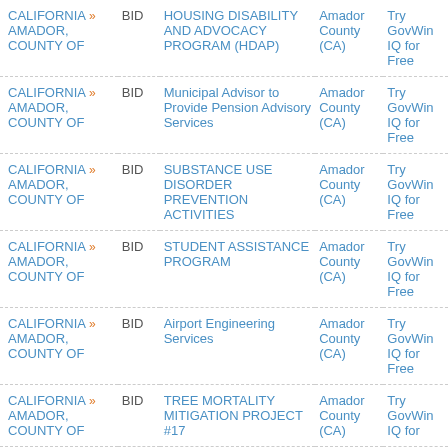| State/Region | Type | Title | County | Action |
| --- | --- | --- | --- | --- |
| CALIFORNIA » AMADOR, COUNTY OF | BID | HOUSING DISABILITY AND ADVOCACY PROGRAM (HDAP) | Amador County (CA) | Try GovWin IQ for Free |
| CALIFORNIA » AMADOR, COUNTY OF | BID | Municipal Advisor to Provide Pension Advisory Services | Amador County (CA) | Try GovWin IQ for Free |
| CALIFORNIA » AMADOR, COUNTY OF | BID | SUBSTANCE USE DISORDER PREVENTION ACTIVITIES | Amador County (CA) | Try GovWin IQ for Free |
| CALIFORNIA » AMADOR, COUNTY OF | BID | STUDENT ASSISTANCE PROGRAM | Amador County (CA) | Try GovWin IQ for Free |
| CALIFORNIA » AMADOR, COUNTY OF | BID | Airport Engineering Services | Amador County (CA) | Try GovWin IQ for Free |
| CALIFORNIA » AMADOR, COUNTY OF | BID | TREE MORTALITY MITIGATION PROJECT #17 | Amador County (CA) | Try GovWin IQ for Free |